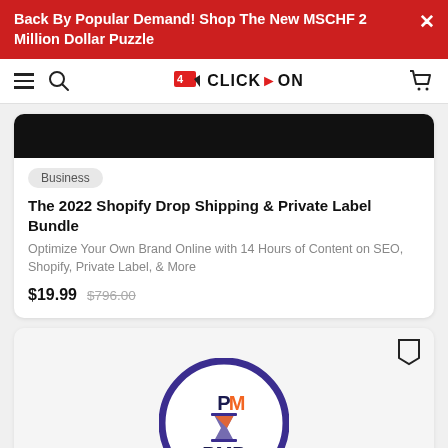Back By Popular Demand! Shop The New MSCHF 2 Million Dollar Puzzle
[Figure (logo): ClickOn website navigation bar with hamburger menu, search icon, ClickOn logo, and cart icon]
[Figure (photo): Dark image top of product card (partially visible)]
Business
The 2022 Shopify Drop Shipping & Private Label Bundle
Optimize Your Own Brand Online with 14 Hours of Content on SEO, Shopify, Private Label, & More
$19.99  $796.00
[Figure (logo): PMP certification logo — circular badge with purple border, PM icon in orange and blue, and PMP text in navy blue]